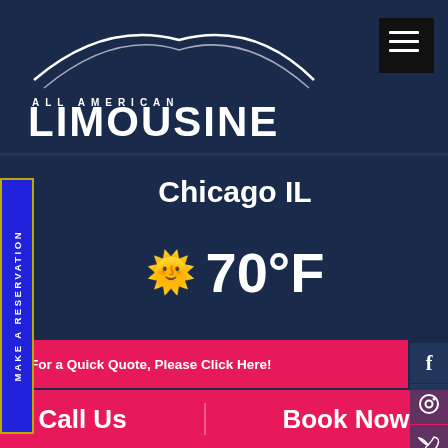[Figure (logo): All American Limousine logo with car arc silhouette and text 'ALL AMERICAN LIMOUSINE - WE ARE HERE TO GET YOU THERE']
Chicago IL
☀ 70°F
For a Quick Quote, Please Click Here!
Office: 📞 (773) 992-0902
Call Us   Book Now